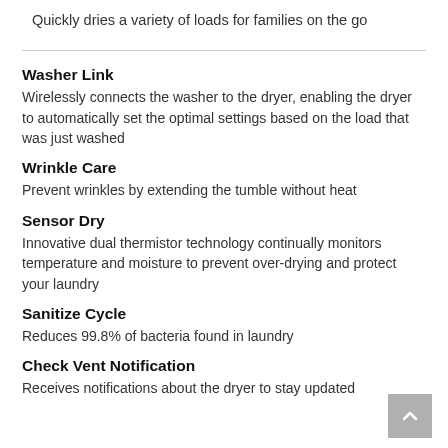Quickly dries a variety of loads for families on the go
Washer Link
Wirelessly connects the washer to the dryer, enabling the dryer to automatically set the optimal settings based on the load that was just washed
Wrinkle Care
Prevent wrinkles by extending the tumble without heat
Sensor Dry
Innovative dual thermistor technology continually monitors temperature and moisture to prevent over-drying and protect your laundry
Sanitize Cycle
Reduces 99.8% of bacteria found in laundry
Check Vent Notification
Receives notifications about the dryer to stay updated